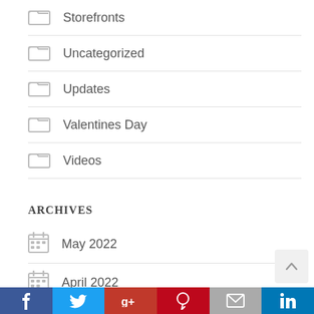Storefronts
Uncategorized
Updates
Valentines Day
Videos
ARCHIVES
May 2022
April 2022
March 2022
February 2022